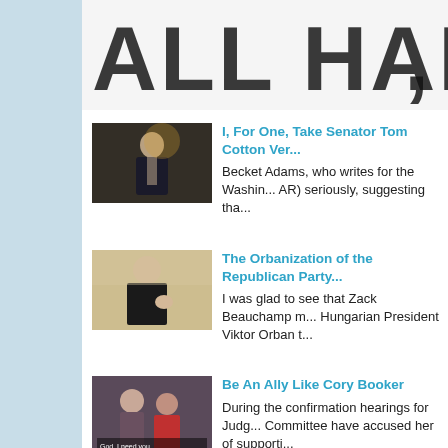[Figure (illustration): Partially visible bold headline text reading 'ALL HAI...' in large block letters, like a blog or newsletter masthead banner]
[Figure (photo): Photo of a man in a dark suit with a tie, standing in a dimly lit interior, looking serious]
I, For One, Take Senator Tom Cotton Ver...
Becket Adams, who writes for the Washin... AR) seriously, suggesting tha...
[Figure (photo): Photo of a heavier-set man in a dark suit gesturing with his hand, appears to be speaking or presenting]
The Orbanization of the Republican Party
I was glad to see that Zack Beauchamp m... Hungarian President Viktor Orban t...
[Figure (photo): Photo of two women, one wearing red clothing, in what appears to be a committee or hearing room setting, with text overlay reading 'God, I need you.']
Be An Ally Like Cory Booker
During the confirmation hearings for Judg... Committee have accused her of supporti...